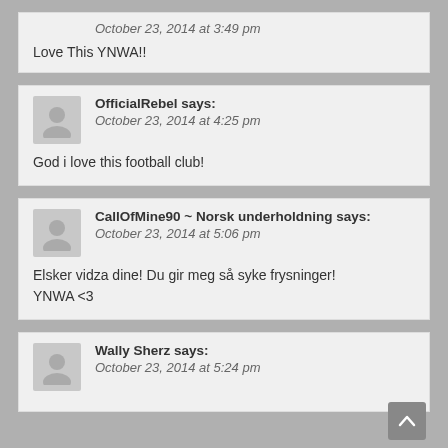October 23, 2014 at 3:49 pm
Love This YNWA!!
OfficialRebel says: October 23, 2014 at 4:25 pm
God i love this football club!
CallOfMine90 ~ Norsk underholdning says: October 23, 2014 at 5:06 pm
Elsker vidza dine! Du gir meg så syke frysninger! YNWA <3
Wally Sherz says: October 23, 2014 at 5:24 pm